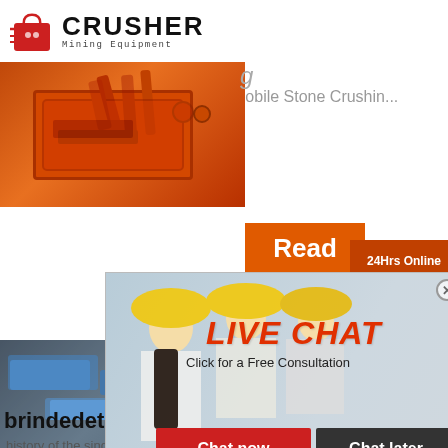[Figure (logo): Crusher Mining Equipment logo with red shopping bag icon and bold black CRUSHER text]
Mobile Stone Crushin...
[Figure (photo): Orange heavy crusher machine equipment]
Read
24Hrs Online
[Figure (infographic): Live Chat popup overlay with workers in hard hats, LIVE CHAT heading in red italic, Click for a Free Consultation text, Chat now (red) and Chat later (dark) buttons]
[Figure (photo): Customer support representative with headset]
Need questions & suggestion?
Chat Now
Enquiry
limingjlmofen@sina.com
[Figure (photo): Blue industrial stone crushing machine]
optimiz
brindedetente.fr
history of the single toggle jaw crusher pdf; coa